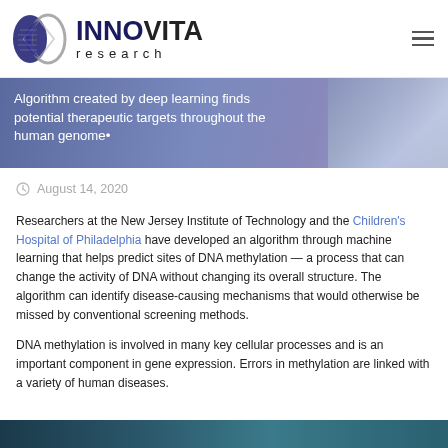INNOVITA research
Algorithm created by deep learning finds potential therapeutic targets throughout the human genome
August 14, 2020
Researchers at the New Jersey Institute of Technology and the Children's Hospital of Philadelphia have developed an algorithm through machine learning that helps predict sites of DNA methylation — a process that can change the activity of DNA without changing its overall structure. The algorithm can identify disease-causing mechanisms that would otherwise be missed by conventional screening methods.
DNA methylation is involved in many key cellular processes and is an important component in gene expression. Errors in methylation are linked with a variety of human diseases.
[Figure (photo): Partial view of a dark teal/blue colored microscopy or scientific image at the bottom of the page]